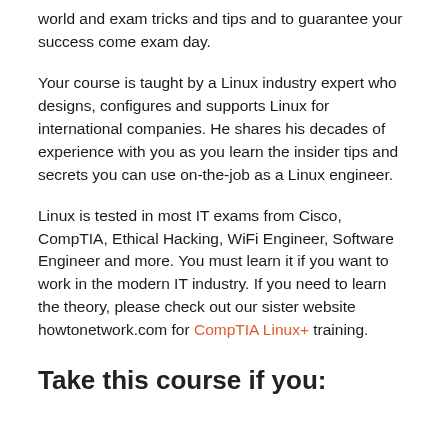world and exam tricks and tips and to guarantee your success come exam day.
Your course is taught by a Linux industry expert who designs, configures and supports Linux for international companies. He shares his decades of experience with you as you learn the insider tips and secrets you can use on-the-job as a Linux engineer.
Linux is tested in most IT exams from Cisco, CompTIA, Ethical Hacking, WiFi Engineer, Software Engineer and more. You must learn it if you want to work in the modern IT industry. If you need to learn the theory, please check out our sister website howtonetwork.com for CompTIA Linux+ training.
Take this course if you: